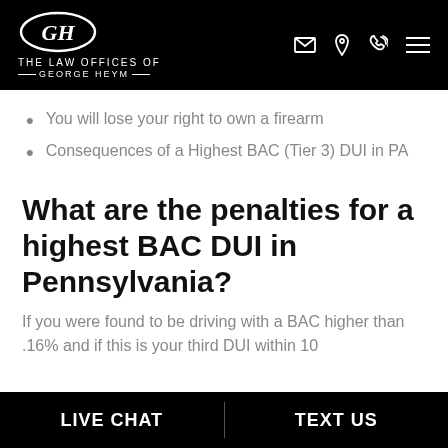THE LAW OFFICES OF GEORGE HEYM
You will lose your right to own a firearm
Consequences of a Highest BAC (Tier 3) DUI in PA
What are the penalties for a highest BAC DUI in Pennsylvania?
If you were found to be driving with a BAC higher than .16% and if this is your third DUI within 10
LIVE CHAT  TEXT US